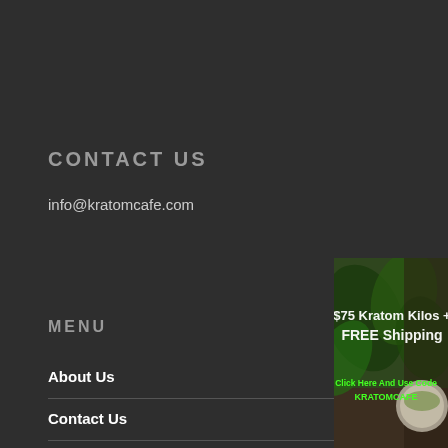CONTACT US
info@kratomcafe.com
MENU
About Us
Contact Us
[Figure (infographic): Promotional banner for Kratom Kilos: '$75 Kratom Kilos + FREE Shipping' with green kratom leaves background and a bowl of kratom powder. Text 'Click Here And Use Code KRATOMCAFE' in green.]